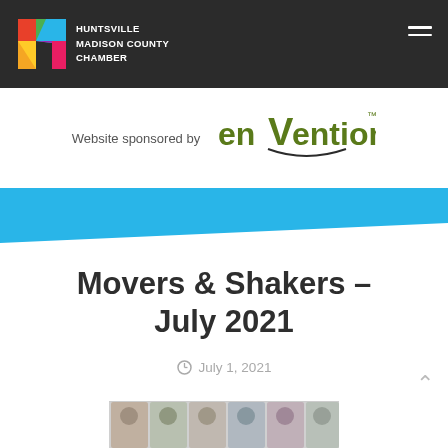Huntsville Madison County Chamber
[Figure (logo): Huntsville Madison County Chamber logo with colorful H graphic and white text]
Website sponsored by enVention
[Figure (logo): enVention company logo in olive/green color with trademark symbol]
Movers & Shakers – July 2021
July 1, 2021
[Figure (photo): Row of headshot photos of people, partially visible at bottom of page]